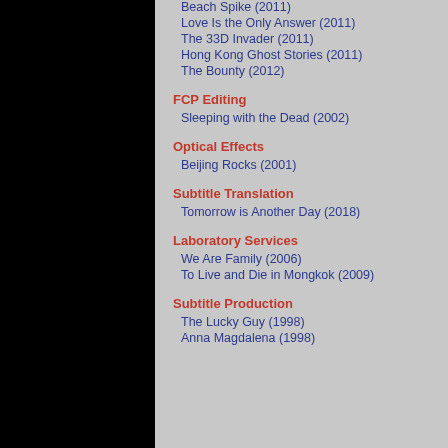Beach Spike (2011)
Love Is the Only Answer (2011)
The 33D Invader (2011)
Hong Kong Ghost Stories (2011)
The Bounty (2012)
FCP Editing
Sleeping with the Dead (2002)
Optical Effects
Beijing Rocks (2001)
Subtitle Translation
Tomorrow is Another Day (2018)
Laboratory Services
We Are Family (2006)
To Live and Die in Mongkok (2009)
Subtitle Production
The Lucky Guy (1998)
Anna Magdalena (1998)